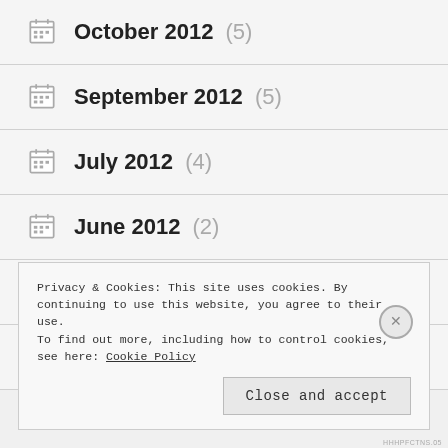October 2012 (5)
September 2012 (5)
July 2012 (4)
June 2012 (2)
May 2012 (14)
April 2012 (5)
Privacy & Cookies: This site uses cookies. By continuing to use this website, you agree to their use.
To find out more, including how to control cookies, see here: Cookie Policy